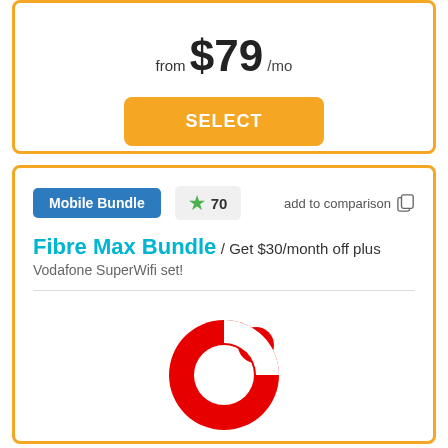from $79 /mo
SELECT
Mobile Bundle  ★ 70  add to comparison
Fibre Max Bundle / Get $30/month off plus Vodafone SuperWifi set!
[Figure (logo): Vodafone logo: red circular ring with white cutout forming a stylized 'O' shape, with 'vodafone' text in red below]